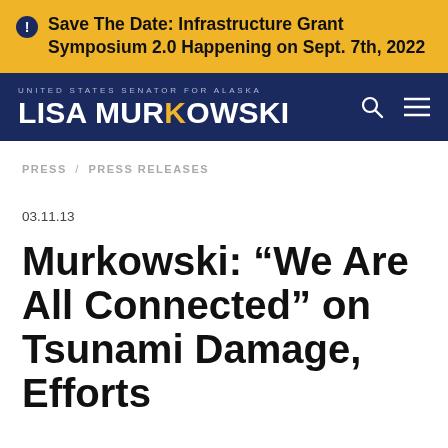Save The Date: Infrastructure Grant Symposium 2.0 Happening on Sept. 7th, 2022
[Figure (logo): Lisa Murkowski - United States Senator for Alaska logo/navigation bar]
PRESS / PRESS RELEASES
03.11.13
Murkowski: “We Are All Connected” on Tsunami Damage, Efforts